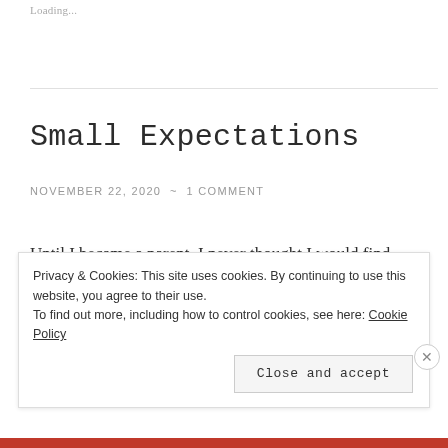Loading...
Small Expectations
NOVEMBER 22, 2020 ~ 1 COMMENT
Until I became a parent, I never thought I would find myself cheering for a burp.  Or clapping for someone lifting up their head.  Or tearing up with excitement over a simple smile. It's
Privacy & Cookies: This site uses cookies. By continuing to use this website, you agree to their use.
To find out more, including how to control cookies, see here: Cookie Policy
Close and accept